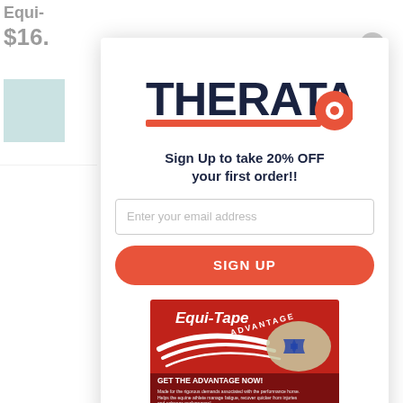Equi-
$16.
[Figure (screenshot): Background product color swatch in teal/muted blue-green]
[Figure (logo): TheraTape logo with bold navy text and red underline with circular element]
Sign Up to take 20% OFF your first order!!
Enter your email address
SIGN UP
[Figure (photo): Equi-Tape Advantage product box in red with swoosh design and a kinesiology tape precut piece. Text: GET THE ADVANTAGE NOW! Made for the rigorous demands associated with the performance horse. Helps the equine athlete manage fatigue, recover quicker from injuries and enhance performance!]